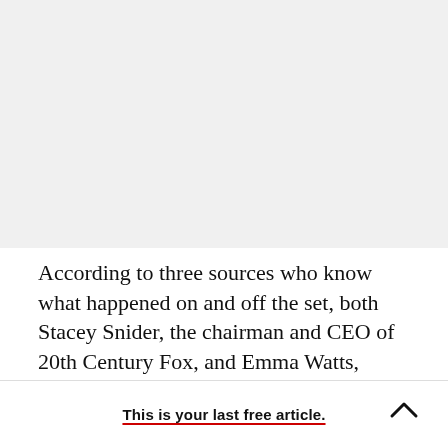[Figure (other): Gray rectangular area filling top portion of page, likely an image placeholder or article image]
According to three sources who know what happened on and off the set, both Stacey Snider, the chairman and CEO of 20th Century Fox, and Emma Watts, Fox’s vice chair and president of
This is your last free article.